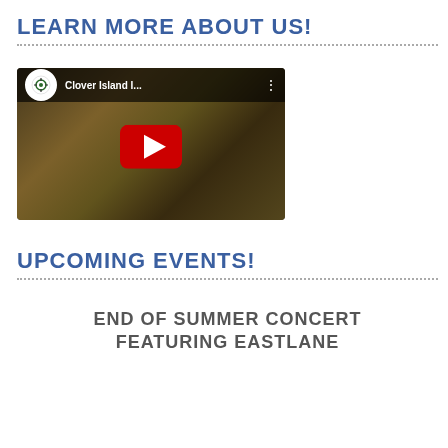LEARN MORE ABOUT US!
[Figure (screenshot): YouTube video thumbnail for 'Clover Island I...' showing a play button over a food image with channel logo]
UPCOMING EVENTS!
END OF SUMMER CONCERT
FEATURING EASTLANE